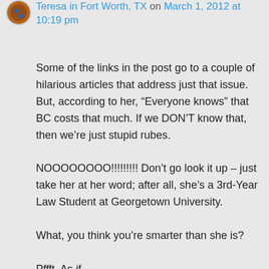[Figure (illustration): Small circular avatar/profile image with a dark brown/orange colored icon on a light background]
Teresa in Fort Worth, TX on March 1, 2012 at 10:19 pm
Some of the links in the post go to a couple of hilarious articles that address just that issue. But, according to her, “Everyone knows” that BC costs that much. If we DON’T know that, then we’re just stupid rubes.
NOOOOOOOO!!!!!!!!! Don’t go look it up – just take her at her word; after all, she’s a 3rd-Year Law Student at Georgetown University.
What, you think you’re smarter than she is?
Pffft. As if.